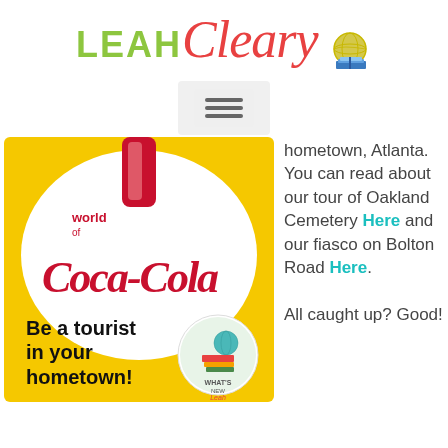LEAH Cleary
[Figure (logo): Leah Cleary blog logo with globe and book icon]
[Figure (photo): World of Coca-Cola sign photo with text 'Be a tourist in your hometown!' and a What's New with Leah circular badge]
hometown, Atlanta. You can read about our tour of Oakland Cemetery Here and our fiasco on Bolton Road Here. All caught up? Good!